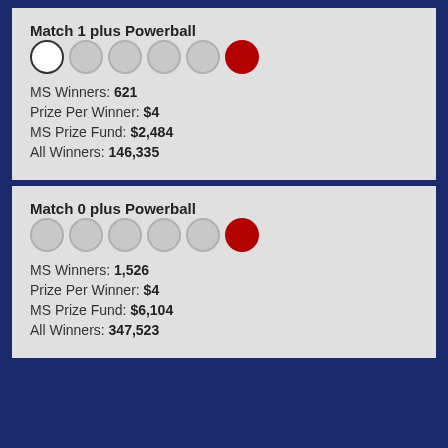Match 1 plus Powerball
MS Winners: 621
Prize Per Winner: $4
MS Prize Fund: $2,484
All Winners: 146,335
Match 0 plus Powerball
MS Winners: 1,526
Prize Per Winner: $4
MS Prize Fund: $6,104
All Winners: 347,523